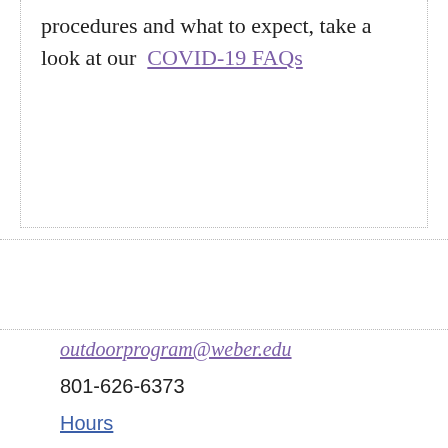procedures and what to expect, take a look at our COVID-19 FAQs
outdoorprogram@weber.edu
801-626-6373
Hours
Map
[Figure (logo): Facebook social media icon - blue square with white letter f]
[Figure (logo): YouTube social media icon - red square with white play button triangle]
[Figure (logo): Instagram social media icon - red/pink square with white camera outline]